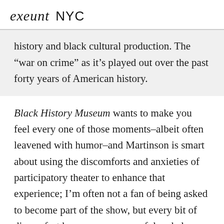exeunt NYC
history and black cultural production. The “war on crime” as it’s played out over the past forty years of American history.
Black History Museum wants to make you feel every one of those moments–albeit often leavened with humor–and Martinson is smart about using the discomforts and anxieties of participatory theater to enhance that experience; I’m often not a fan of being asked to become part of the show, but every bit of discomfort here seems purposeful and also designed to generate a shared experience. I found it least successful at its